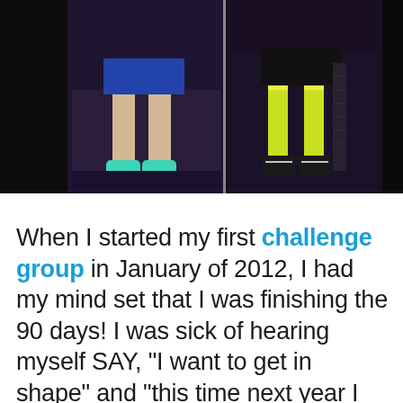[Figure (photo): Two side-by-side photos showing legs/lower body of a person. Left photo shows someone in blue shorts with teal/mint sneakers. Right photo shows someone in dark shorts with bright yellow-green knee-high socks and dark sneakers. Both photos have dark backgrounds.]
When I started my first challenge group in January of 2012, I had my mind set that I was finishing the 90 days! I was sick of hearing myself SAY, "I want to get in shape" and "this time next year I will be in shape" but never actually following through. I was 29 years old with only a few short months left in my twenties and it was time to make a change. I was one of "the...